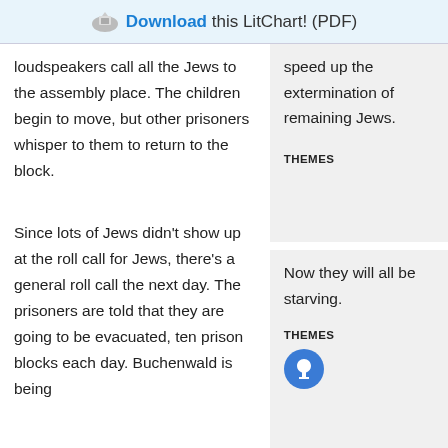Download this LitChart! (PDF)
loudspeakers call all the Jews to the assembly place. The children begin to move, but other prisoners whisper to them to return to the block.
speed up the extermination of remaining Jews.
THEMES
Since lots of Jews didn't show up at the roll call for Jews, there's a general roll call the next day. The prisoners are told that they are going to be evacuated, ten prison blocks each day. Buchenwald is being
Now they will all be starving.
THEMES